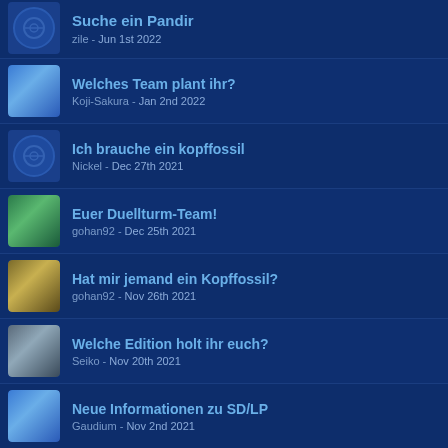Suche ein Pandir - zile - Jun 1st 2022
Welches Team plant ihr? - Koji-Sakura - Jan 2nd 2022
Ich brauche ein kopffossil - Nickel - Dec 27th 2021
Euer Duellturm-Team! - gohan92 - Dec 25th 2021
Hat mir jemand ein Kopffossil? - gohan92 - Nov 26th 2021
Welche Edition holt ihr euch? - Seiko - Nov 20th 2021
Neue Informationen zu SD/LP - Gaudium - Nov 2nd 2021
Für welchen Starter entscheidet ihr euch? - Cass - Sep 28th 2021
Lustige Bilder & Memes zu Pokemon SD & LP - Veniko - Mar 6th 2021